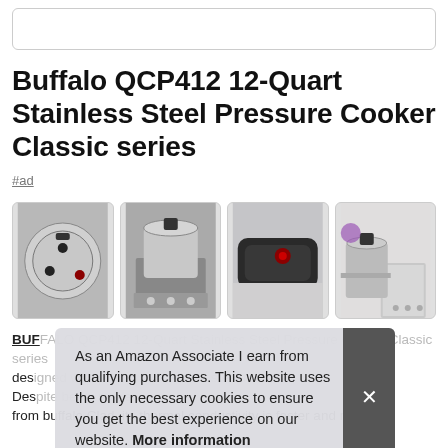Buffalo QCP412 12-Quart Stainless Steel Pressure Cooker Classic series
#ad
[Figure (photo): Four product images of Buffalo QCP412 pressure cooker: lid close-up, cooker on stove, handle close-up, cooker in kitchen setting]
BUFFALO QCP412 12-Quart description. Designed from buffalo Clad, its thermal conductivity is faster and more
As an Amazon Associate I earn from qualifying purchases. This website uses the only necessary cookies to ensure you get the best experience on our website. More information